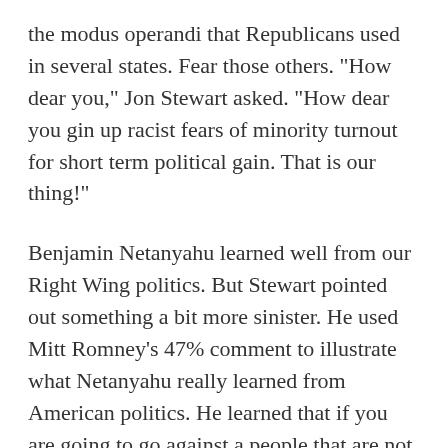the modus operandi that Republicans used in several states. Fear those others. "How dear you," Jon Stewart asked. "How dear you gin up racist fears of minority turnout for short term political gain. That is our thing!"
Benjamin Netanyahu learned well from our Right Wing politics. But Stewart pointed out something a bit more sinister. He used Mitt Romney's 47% comment to illustrate what Netanyahu really learned from American politics. He learned that if you are going to go against a people that are not a majority and that some may fear, you must double down with conviction. Force the human carnality of fear to emerge from the voters you need. In other words as Stewart said, "Go in or go